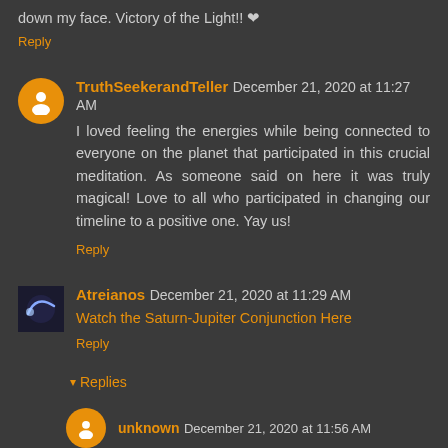down my face. Victory of the Light!! ❤
Reply
TruthSeekerandTeller  December 21, 2020 at 11:27 AM
I loved feeling the energies while being connected to everyone on the planet that participated in this crucial meditation. As someone said on here it was truly magical! Love to all who participated in changing our timeline to a positive one. Yay us!
Reply
Atreianos  December 21, 2020 at 11:29 AM
Watch the Saturn-Jupiter Conjunction Here
Reply
▾ Replies
unknown  December 21, 2020 at 11:56 AM